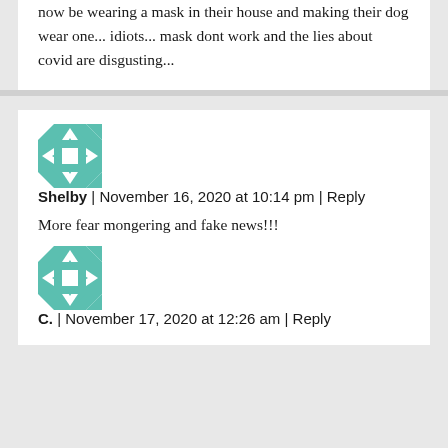now be wearing a mask in their house and making their dog wear one... idiots... mask dont work and the lies about covid are disgusting...
[Figure (illustration): Teal and white geometric quilt-pattern avatar icon for user Shelby]
Shelby | November 16, 2020 at 10:14 pm | Reply
More fear mongering and fake news!!!
[Figure (illustration): Teal and white geometric quilt-pattern avatar icon for user C.]
C. | November 17, 2020 at 12:26 am | Reply